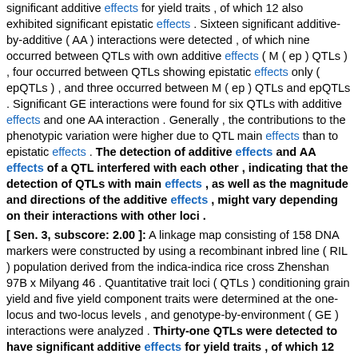significant additive effects for yield traits , of which 12 also exhibited significant epistatic effects . Sixteen significant additive-by-additive ( AA ) interactions were detected , of which nine occurred between QTLs with own additive effects ( M ( ep ) QTLs ) , four occurred between QTLs showing epistatic effects only ( epQTLs ) , and three occurred between M ( ep ) QTLs and epQTLs . Significant GE interactions were found for six QTLs with additive effects and one AA interaction . Generally , the contributions to the phenotypic variation were higher due to QTL main effects than to epistatic effects . The detection of additive effects and AA effects of a QTL interfered with each other , indicating that the detection of QTLs with main effects , as well as the magnitude and directions of the additive effects , might vary depending on their interactions with other loci .
[ Sen. 3, subscore: 2.00 ]: A linkage map consisting of 158 DNA markers were constructed by using a recombinant inbred line ( RIL ) population derived from the indica-indica rice cross Zhenshan 97B x Milyang 46 . Quantitative trait loci ( QTLs ) conditioning grain yield and five yield component traits were determined at the one-locus and two-locus levels , and genotype-by-environment ( GE ) interactions were analyzed . Thirty-one QTLs were detected to have significant additive effects for yield traits , of which 12 also exhibited significant epistatic effects . Sixteen significant additive-by-additive ( AA ) interactions were detected , of which nine occurred between QTLs with own additive effects ( M ( ep ) QTLs ) , four occurred between QTLs showing epistatic effects only ( epQTLs ) , and three occurred between M ( ep ) QTLs and epQTLs . Significant GE interactions were found for six QTLs with additive effects and one AA interaction . Generally , the contributions to the phenotypic variation were higher due to QTL main effects than to epistatic effects . The detection of additive effects and AA effects of a QTL interfered with each other , indicating that the detection